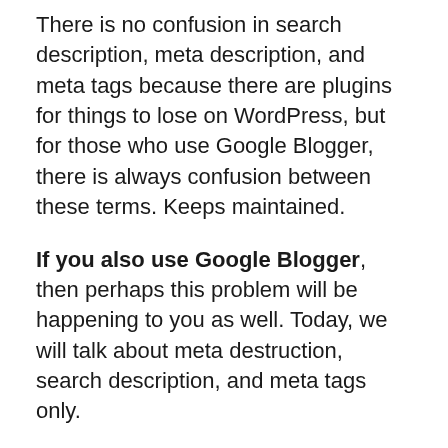There is no confusion in search description, meta description, and meta tags because there are plugins for things to lose on WordPress, but for those who use Google Blogger, there is always confusion between these terms. Keeps maintained.
If you also use Google Blogger, then perhaps this problem will be happening to you as well. Today, we will talk about meta destruction, search description, and meta tags only.
We will also show how we can put an SEO-friendly search description, meta description, and meta tags in our article so that our post will be ranked soon.